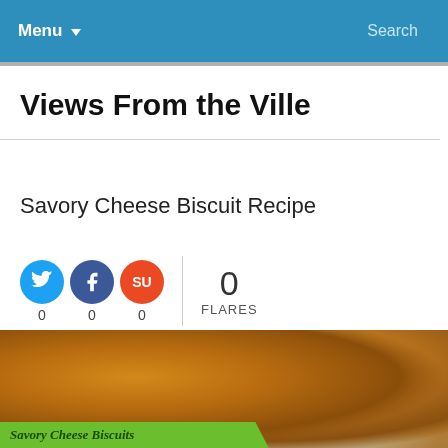Menu   Search
Views From the Ville
Savory Cheese Biscuit Recipe
0  0  0     0 FLARES
[Figure (photo): Photo of savory cheese biscuits on a blue plate, with a green caption bar reading 'Savory Cheese Biscuits']